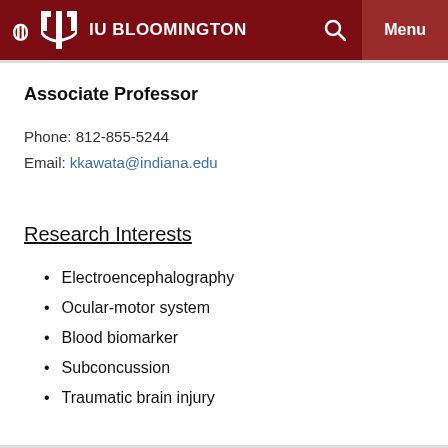IU BLOOMINGTON
Associate Professor
Phone: 812-855-5244
Email: kkawata@indiana.edu
Research Interests
Electroencephalography
Ocular-motor system
Blood biomarker
Subconcussion
Traumatic brain injury